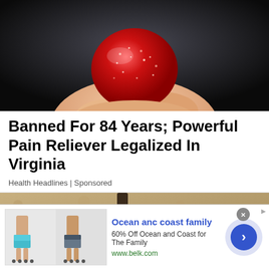[Figure (photo): Close-up photo of fingers holding a small red sugar-coated candy or gummy against a dark background]
Banned For 84 Years; Powerful Pain Reliever Legalized In Virginia
Health Headlines | Sponsored
[Figure (photo): Photo of an outdoor wall-mounted lantern or light fixture against a sandy/stone textured wall]
[Figure (other): Advertisement banner: Ocean anc coast family - 60% Off Ocean and Coast for The Family - www.belk.com - with swimwear product images and navigation arrow button]